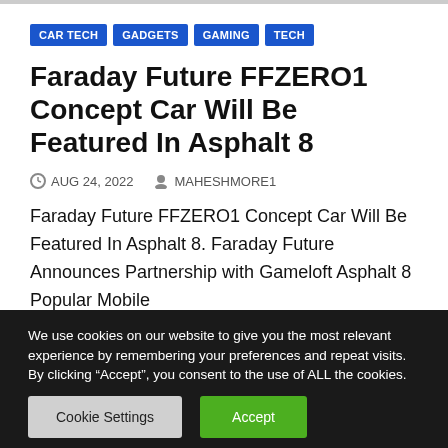CAR TECH
GADGETS
GAMING
TECH
Faraday Future FFZERO1 Concept Car Will Be Featured In Asphalt 8
AUG 24, 2022  MAHESHMORE1
Faraday Future FFZERO1 Concept Car Will Be Featured In Asphalt 8. Faraday Future Announces Partnership with Gameloft Asphalt 8 Popular Mobile
We use cookies on our website to give you the most relevant experience by remembering your preferences and repeat visits. By clicking “Accept”, you consent to the use of ALL the cookies.
Do not sell my personal information.
Cookie Settings  Accept